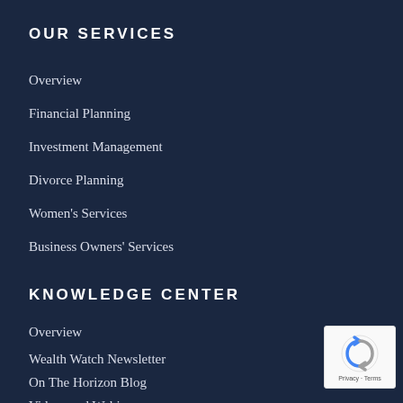OUR SERVICES
Overview
Financial Planning
Investment Management
Divorce Planning
Women's Services
Business Owners' Services
KNOWLEDGE CENTER
Overview
Wealth Watch Newsletter
On The Horizon Blog
Videos and Webinars
Helpful Resources
[Figure (logo): reCAPTCHA badge with Privacy and Terms text]